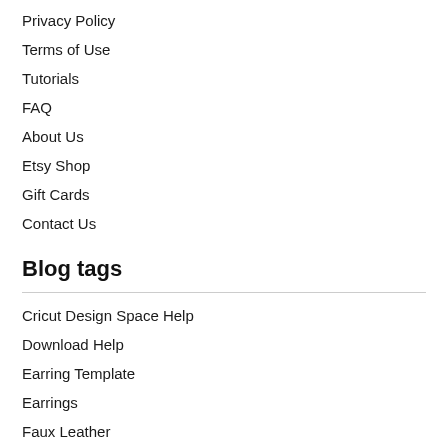Privacy Policy
Terms of Use
Tutorials
FAQ
About Us
Etsy Shop
Gift Cards
Contact Us
Blog tags
Cricut Design Space Help
Download Help
Earring Template
Earrings
Faux Leather